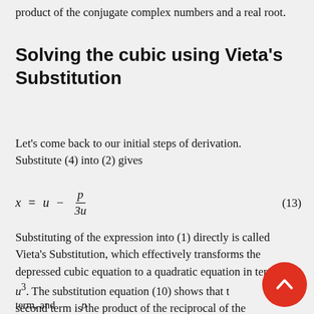product of the conjugate complex numbers and a real root.
Solving the cubic using Vieta's Substitution
Let's come back to our initial steps of derivation. Substitute (4) into (2) gives
Substituting of the expression into (1) directly is called Vieta's Substitution, which effectively transforms the depressed cubic equation to a quadratic equation in terms of u³. The substitution equation (10) shows that the second term is the product of the reciprocal of the term, and p
term, and p